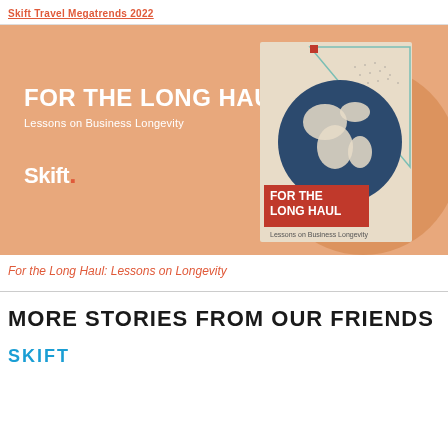Skift Travel Megatrends 2022
[Figure (illustration): Orange banner advertisement for 'For the Long Haul: Lessons on Business Longevity' by Skift, showing white bold text on the left and a book cover on the right featuring a globe graphic]
For the Long Haul: Lessons on Longevity
MORE STORIES FROM OUR FRIENDS
SKIFT